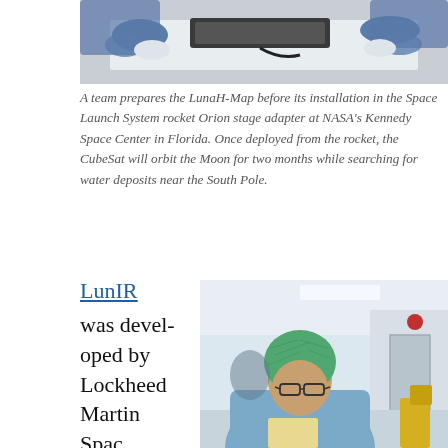[Figure (photo): Top photo partially visible: team members in blue protective gear preparing the LunaH-Map CubeSat before installation in the Space Launch System rocket Orion stage adapter at NASA Kennedy Space Center. Cropped at top, showing hands and equipment on a white surface.]
A team prepares the LunaH-Map before its installation in the Space Launch System rocket Orion stage adapter at NASA's Kennedy Space Center in Florida. Once deployed from the rocket, the CubeSat will orbit the Moon for two months while searching for water deposits near the South Pole.
LunIR was developed by Lockheed Martin Spac…
[Figure (photo): A person wearing a blue cleanroom suit and green hairnet, with glasses, working at a cleanroom facility. The background shows a bright cleanroom environment with yellow safety equipment visible.]